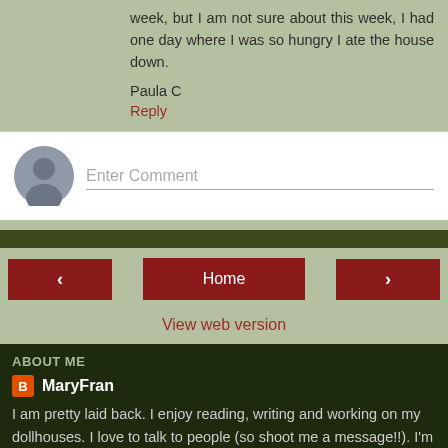week, but I am not sure about this week, I had one day where I was so hungry I ate the house down.
Paula C
Reply
[Figure (screenshot): Comment input box with avatar icon and placeholder text 'Enter Comment']
Home
View web version
ABOUT ME
MaryFran
I am pretty laid back. I enjoy reading, writing and working on my dollhouses. I love to talk to people (so shoot me a message!!). I'm in a serious committed relationship and I look forward to many more